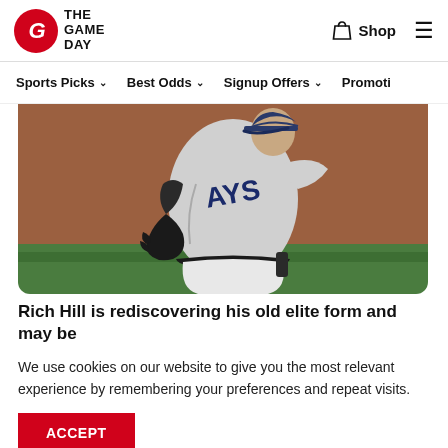The Game Day — Shop
Sports Picks ˅   Best Odds ˅   Signup Offers ˅   Promotio…
[Figure (photo): Baseball pitcher in Tampa Bay Rays gray uniform mid-throw, wearing black glove, with blurred stadium background]
Rich Hill is rediscovering his old elite form and may be
We use cookies on our website to give you the most relevant experience by remembering your preferences and repeat visits.